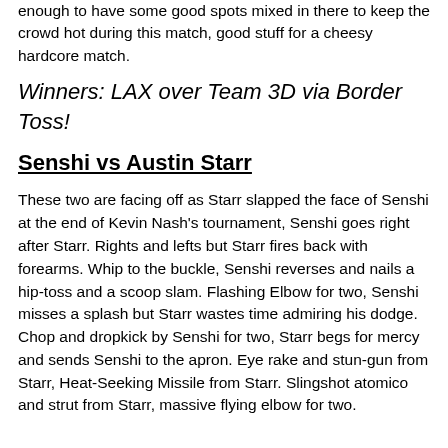enough to have some good spots mixed in there to keep the crowd hot during this match, good stuff for a cheesy hardcore match.
Winners: LAX over Team 3D via Border Toss!
Senshi vs Austin Starr
These two are facing off as Starr slapped the face of Senshi at the end of Kevin Nash's tournament, Senshi goes right after Starr. Rights and lefts but Starr fires back with forearms. Whip to the buckle, Senshi reverses and nails a hip-toss and a scoop slam. Flashing Elbow for two, Senshi misses a splash but Starr wastes time admiring his dodge. Chop and dropkick by Senshi for two, Starr begs for mercy and sends Senshi to the apron. Eye rake and stun-gun from Starr, Heat-Seeking Missile from Starr. Slingshot atomico and strut from Starr, massive flying elbow for two.